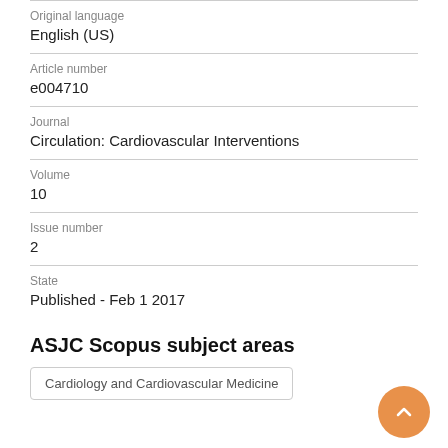Original language
English (US)
Article number
e004710
Journal
Circulation: Cardiovascular Interventions
Volume
10
Issue number
2
State
Published - Feb 1 2017
ASJC Scopus subject areas
Cardiology and Cardiovascular Medicine